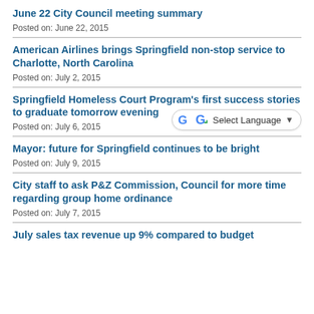June 22 City Council meeting summary
Posted on: June 22, 2015
American Airlines brings Springfield non-stop service to Charlotte, North Carolina
Posted on: July 2, 2015
Springfield Homeless Court Program's first success stories to graduate tomorrow evening
Posted on: July 6, 2015
Mayor: future for Springfield continues to be bright
Posted on: July 9, 2015
City staff to ask P&Z Commission, Council for more time regarding group home ordinance
Posted on: July 7, 2015
July sales tax revenue up 9% compared to budget